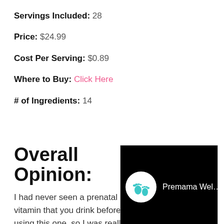Servings Included: 28
Price: $24.99
Cost Per Serving: $0.89
Where to Buy: Click Here
# of Ingredients: 14
Overall Opinion:
I had never seen a prenatal vitamin that you drink before using this one, so I was really intrigued by
[Figure (screenshot): Black banner with white circular logo showing teal baby footprints and text 'Premama Wel...']